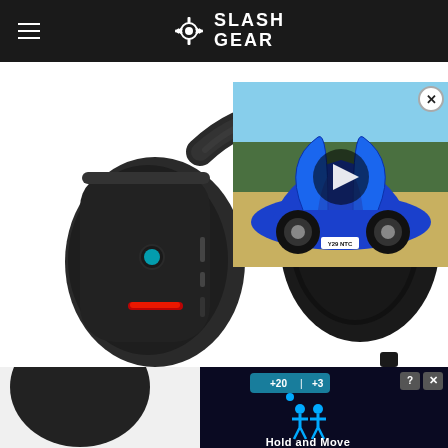SlashGear
[Figure (photo): Large close-up photo of a black Alienware gaming headset with red accent lighting and teal Alienware logo button, shown from the side against a white background]
[Figure (screenshot): Overlay video thumbnail of a blue McLaren sports car with doors open, parked outdoors, with a play button in the center]
[Figure (screenshot): Bottom advertisement overlay showing a dark background with blue figures and text reading 'Hold and Move', with score indicators +20 and +3, and ad control buttons]